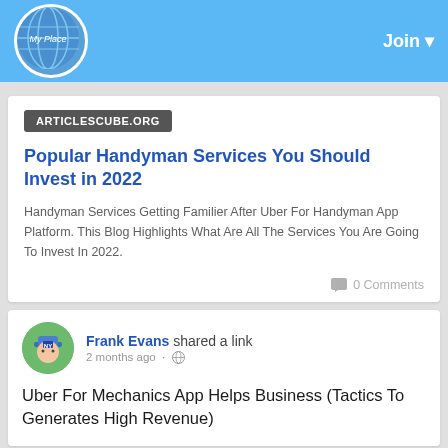My Place - Join
ARTICLESCUBE.ORG
Popular Handyman Services You Should Invest in 2022
Handyman Services Getting Familier After Uber For Handyman App Platform. This Blog Highlights What Are All The Services You Are Going To Invest In 2022.
0 Comments
Frank Evans shared a link
2 months ago -
Uber For Mechanics App Helps Business (Tactics To Generates High Revenue)